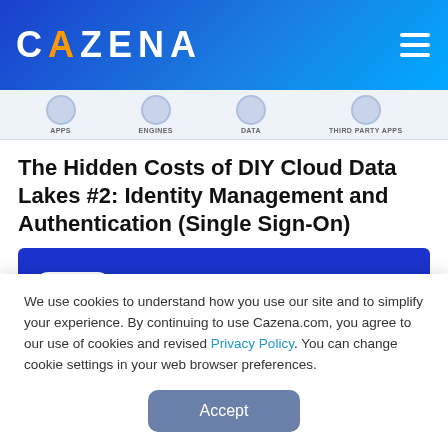CAZENA
[Figure (screenshot): Navigation bar with icons for APPS, ENGINES, DATA, THIRD PARTY APPS on a light blue background]
The Hidden Costs of DIY Cloud Data Lakes #2: Identity Management and Authentication (Single Sign-On)
[Figure (screenshot): Blue card with a white 'News' badge/pill label]
We use cookies to understand how you use our site and to simplify your experience. By continuing to use Cazena.com, you agree to our use of cookies and revised Privacy Policy. You can change cookie settings in your web browser preferences.